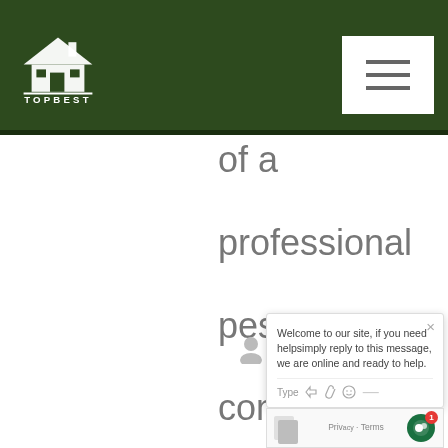[Figure (logo): Topbest logo: white house/roof icon with text TOPBEST on dark green header background]
of a professional pest control service. Topbest Pest Services can help keep your home
[Figure (screenshot): Chat popup widget: 'Welcome to our site, if you need helpsimply reply to this message, we are online and ready to help.' with Type input row and avatar icon. reCAPTCHA widget with green circle and badge '1' and 'Privacy Terms' text.]